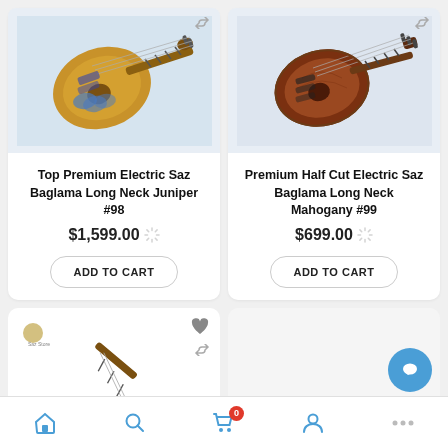[Figure (photo): Top Premium Electric Saz Baglama Long Neck Juniper #98 product photo on light blue background]
Top Premium Electric Saz Baglama Long Neck Juniper #98
$1,599.00
ADD TO CART
[Figure (photo): Premium Half Cut Electric Saz Baglama Long Neck Mahogany #99 product photo on light blue background]
Premium Half Cut Electric Saz Baglama Long Neck Mahogany #99
$699.00
ADD TO CART
[Figure (photo): Partial view of a third saz/baglama instrument product card at bottom of page]
Home | Search | Cart (0) | Account | More